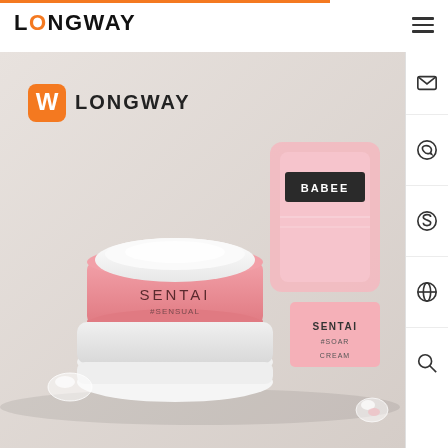[Figure (logo): Longway company logo with orange accent bar at top]
[Figure (photo): Product photo showing SENTAI #SENSUAL pink cream jar open with white cream, BABEE branded pink pouch and SENTAI #SOAR cream product. Longway logo with orange W icon in upper left of image.]
[Figure (infographic): Right sidebar with envelope, WhatsApp, Skype, globe, and search icons]